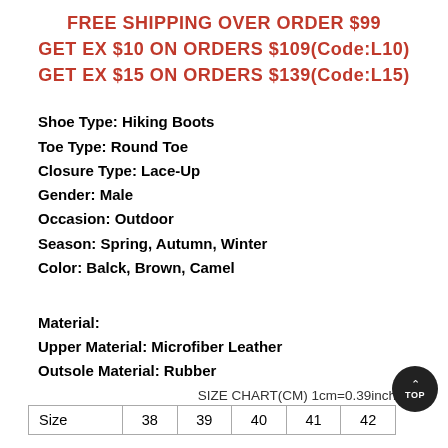FREE SHIPPING OVER ORDER $99
GET EX $10 ON ORDERS $109(Code:L10)
GET EX $15 ON ORDERS $139(Code:L15)
Shoe Type: Hiking Boots
Toe Type: Round Toe
Closure Type: Lace-Up
Gender: Male
Occasion: Outdoor
Season: Spring, Autumn, Winter
Color: Balck, Brown, Camel
Material:
Upper Material: Microfiber Leather
Outsole Material: Rubber
SIZE CHART(CM) 1cm=0.39inch
| Size | 38 | 39 | 40 | 41 | 42 |
| --- | --- | --- | --- | --- | --- |